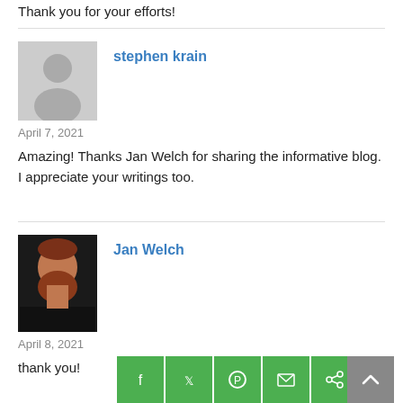Thank you for your efforts!
stephen krain
April 7, 2021
Amazing! Thanks Jan Welch for sharing the informative blog. I appreciate your writings too.
Jan Welch
April 8, 2021
thank you!